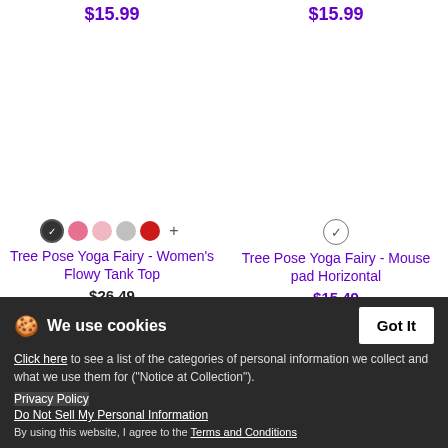$15.99
$15.99
[Figure (other): Product image area for Women's Flowy Tank Top (blank)]
[Figure (other): Product image area for Mouse pad Horizontal (blank)]
Tree Pose Yoga Fairy - Women's Flowy Tank Top
$26.49
Tree Pose Yoga Fairy - Mouse pad Horizontal
$15.49
We use cookies
Click here to see a list of the categories of personal information we collect and what we use them for ("Notice at Collection").
Privacy Policy
Do Not Sell My Personal Information
By using this website, I agree to the Terms and Conditions